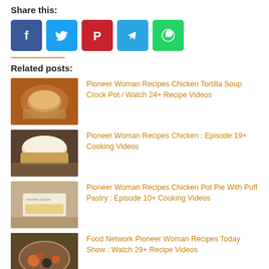Share this:
[Figure (illustration): Social sharing buttons: Facebook (blue), Twitter (light blue), Pinterest (red), Telegram (blue), WhatsApp (green)]
Related posts:
[Figure (photo): Thumbnail of chicken tortilla soup in a crock pot]
Pioneer Woman Recipes Chicken Tortilla Soup Crock Pot / Watch 24+ Recipe Videos
[Figure (photo): Thumbnail of chicken sandwich]
Pioneer Woman Recipes Chicken : Episode 19+ Cooking Videos
[Figure (photo): Thumbnail of chicken pot pie with puff pastry]
Pioneer Woman Recipes Chicken Pot Pie With Puff Pastry : Episode 10+ Cooking Videos
[Figure (photo): Thumbnail of Food Network Pioneer Woman dish with vegetables]
Food Network Pioneer Woman Recipes Today Show : Watch 29+ Recipe Videos